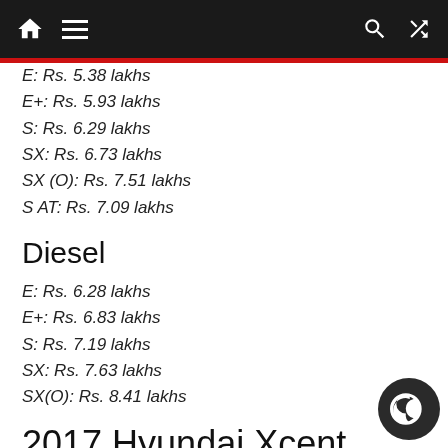Navigation bar with home, menu, search, and shuffle icons
E: Rs. 5.38 lakhs
E+: Rs. 5.93 lakhs
S: Rs. 6.29 lakhs
SX: Rs. 6.73 lakhs
SX (O): Rs. 7.51 lakhs
S AT: Rs. 7.09 lakhs
Diesel
E: Rs. 6.28 lakhs
E+: Rs. 6.83 lakhs
S: Rs. 7.19 lakhs
SX: Rs. 7.63 lakhs
SX(O): Rs. 8.41 lakhs
2017 Hyundai Xcent Photo Gallery: